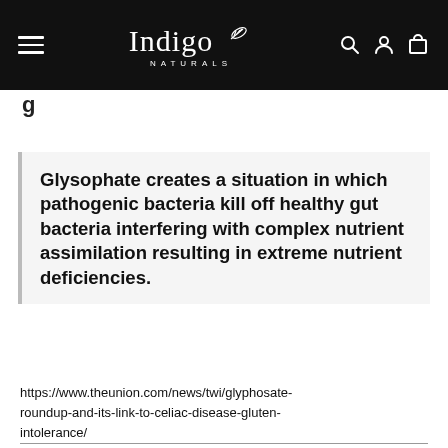Indigo NATURALS
Glysophate creates a situation in which pathogenic bacteria kill off healthy gut bacteria interfering with complex nutrient assimilation resulting in extreme nutrient deficiencies.
https://www.theunion.com/news/twi/glyphosate-roundup-and-its-link-to-celiac-disease-gluten-intolerance/